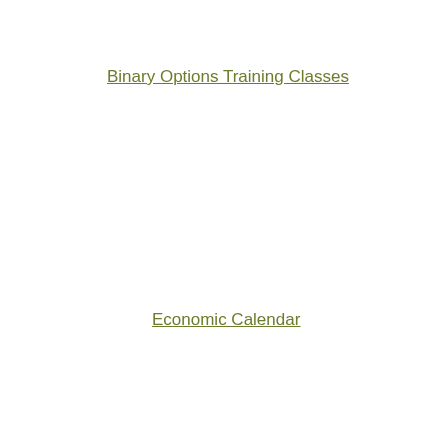Binary Options Training Classes
Economic Calendar